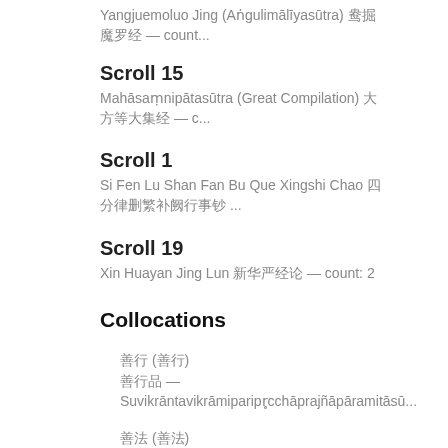Yangjuemoluo Jing (Aṅgulimālīyasūtra) 鸯掘魔罗经 — count...
Scroll 15
Mahāsaṃnipātasūtra (Great Compilation) 大方等大集经 — c...
Scroll 1
Si Fen Lu Shan Fan Bu Que Xingshi Chao 四分律删繁补阙行事钞 ...
Scroll 19
Xin Huayan Jing Lun 新华严经论 — count: 2
Collocations
善行 (善行)
善行品 — Suvikrāntavikrāmiparipr̥cchāprajñāpāramitāsū...
善法 (善法)
长善法音 — Long Discourses (Chang Ahan Jing) 长阿含经, Scr...
善男 (善男)